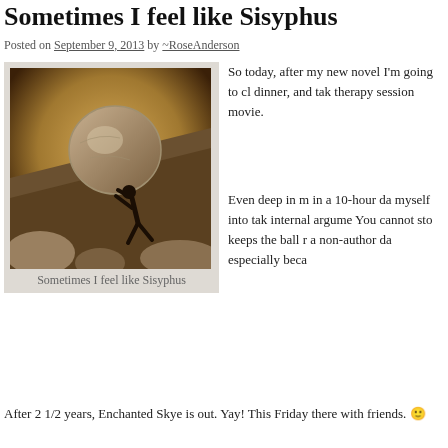Sometimes I feel like Sisyphus
Posted on September 9, 2013 by ~RoseAnderson
[Figure (photo): Sepia-toned photograph of Sisyphus pushing a large boulder up a rocky slope, silhouetted figure against a warm golden background]
Sometimes I feel like Sisyphus
So today, after my new novel I'm going to cl dinner, and tak therapy session movie.
Even deep in m in a 10-hour da myself into tak internal argume You cannot sto keeps the ball r a non-author da especially beca
After 2 1/2 years, Enchanted Skye is out. Yay! This Friday there with friends. 🙂